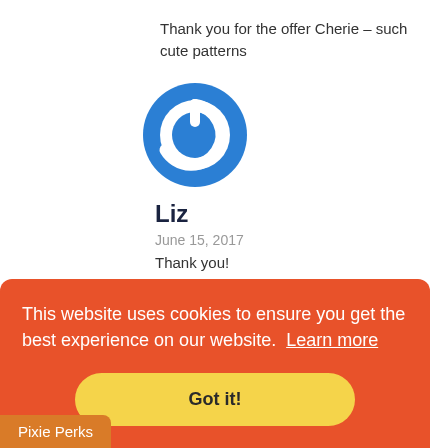Thank you for the offer Cherie – such cute patterns
[Figure (logo): Blue circular power button icon/avatar]
Liz
June 15, 2017
Thank you!
This website uses cookies to ensure you get the best experience on our website. Learn more
Got it!
Pixie Perks